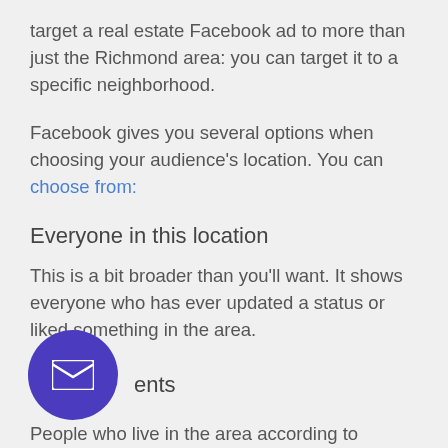target a real estate Facebook ad to more than just the Richmond area: you can target it to a specific neighborhood.
Facebook gives you several options when choosing your audience's location. You can choose from:
Everyone in this location
This is a bit broader than you'll want. It shows everyone who has ever updated a status or liked something in the area.
[Figure (other): Purple circular FAB (floating action button) with a white envelope/mail icon]
ents
People who live in the area according to